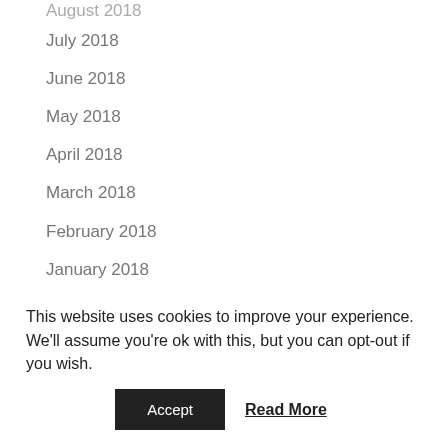August 2018
July 2018
June 2018
May 2018
April 2018
March 2018
February 2018
January 2018
December 2017
November 2017
October 2017
September 2017
This website uses cookies to improve your experience. We'll assume you're ok with this, but you can opt-out if you wish.
Accept
Read More